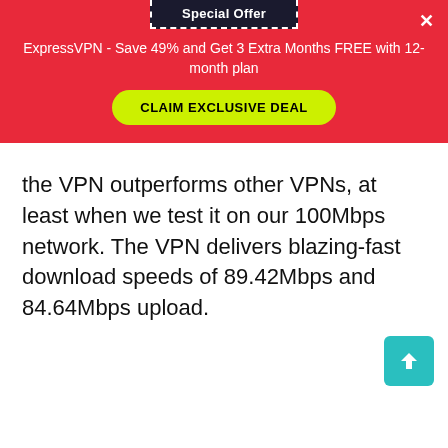Special Offer
ExpressVPN - Save 49% and Get 3 Extra Months FREE with 12-month plan
CLAIM EXCLUSIVE DEAL
the VPN outperforms other VPNs, at least when we test it on our 100Mbps network. The VPN delivers blazing-fast download speeds of 89.42Mbps and 84.64Mbps upload.